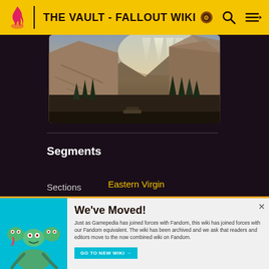THE VAULT - FALLOUT WIKI
[Figure (screenshot): In-game landscape screenshot showing rocky canyon terrain with pine trees, mountains, and sun rays in a post-apocalyptic setting]
Segments
Sections
Eastern Virgin
The Narrows
Three Marys
We've Moved! Just as Gamepedia has joined forces with Fandom, this wiki has joined forces with our Fandom equivalent. The wiki has been archived and we ask that readers and editors move to the now combined wiki on Fandom.
GO TO NEW WIKI →